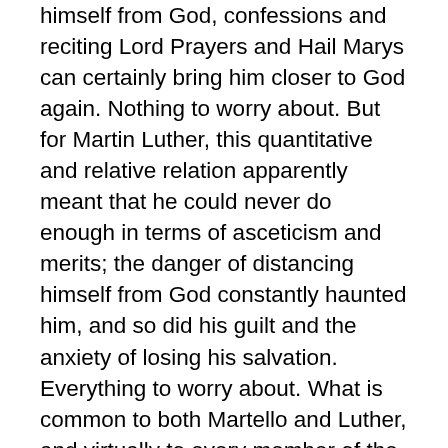himself from God, confessions and reciting Lord Prayers and Hail Marys can certainly bring him closer to God again. Nothing to worry about. But for Martin Luther, this quantitative and relative relation apparently meant that he could never do enough in terms of asceticism and merits; the danger of distancing himself from God constantly haunted him, and so did his guilt and the anxiety of losing his salvation. Everything to worry about. What is common to both Martello and Luther, and virtually to every member of the Catholic community, however, is the fact that without certain forms of remedy mechanisms, their existence would have always been in the process of being away from God and excluded by their community. For the community as such, these remedy mechanisms are also 'immunitary mechanisms' (Esposito 2011), whose operations protect the community and prevent it from collapse not only from 'diseases' (sin) but, perhaps even